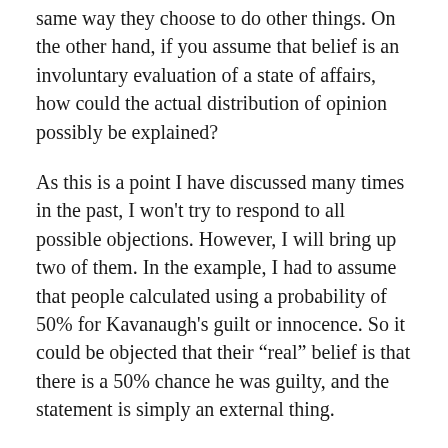same way they choose to do other things. On the other hand, if you assume that belief is an involuntary evaluation of a state of affairs, how could the actual distribution of opinion possibly be explained?
As this is a point I have discussed many times in the past, I won't try to respond to all possible objections. However, I will bring up two of them. In the example, I had to assume that people calculated using a probability of 50% for Kavanaugh's guilt or innocence. So it could be objected that their “real” belief is that there is a 50% chance he was guilty, and the statement is simply an external thing.
This initial 50% is something like a prior